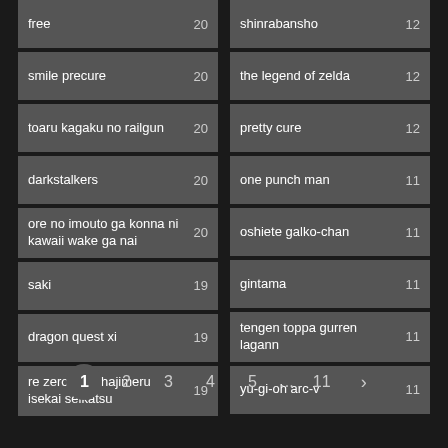| Name | Count |
| --- | --- |
| free | 20 |
| smile precure | 20 |
| toaru kagaku no railgun | 20 |
| darkstalkers | 20 |
| ore no imouto ga konna ni kawaii wake ga nai | 20 |
| saki | 19 |
| dragon quest xi | 19 |
| re zero kara hajimeru isekai seikatsu | 19 |
| Name | Count |
| --- | --- |
| shinrabansho | 12 |
| the legend of zelda | 12 |
| pretty cure | 12 |
| one punch man | 11 |
| oshiete galko-chan | 11 |
| gintama | 11 |
| tengen toppa gurren lagann | 11 |
| yu-gi-oh arc-v | 11 |
1 2 3 4 5 ... 11 >